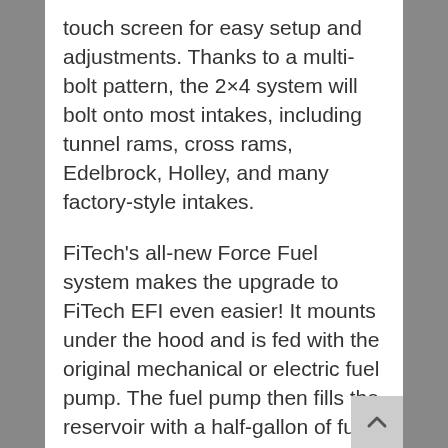touch screen for easy setup and adjustments. Thanks to a multi-bolt pattern, the 2×4 system will bolt onto most intakes, including tunnel rams, cross rams, Edelbrock, Holley, and many factory-style intakes.
FiTech's all-new Force Fuel system makes the upgrade to FiTech EFI even easier! It mounts under the hood and is fed with the original mechanical or electric fuel pump. The fuel pump then fills the reservoir with a half-gallon of fuel to submerge an internal electric fuel pump—to keep it cool for long life and no chance of fuel starvation. An internal regulator keeps the pressure at